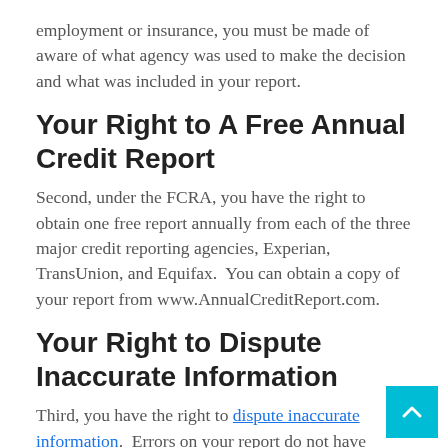employment or insurance, you must be made of aware of what agency was used to make the decision and what was included in your report.
Your Right to A Free Annual Credit Report
Second, under the FCRA, you have the right to obtain one free report annually from each of the three major credit reporting agencies, Experian, TransUnion, and Equifax.  You can obtain a copy of your report from www.AnnualCreditReport.com.
Your Right to Dispute Inaccurate Information
Third, you have the right to dispute inaccurate information.  Errors on your report do not have